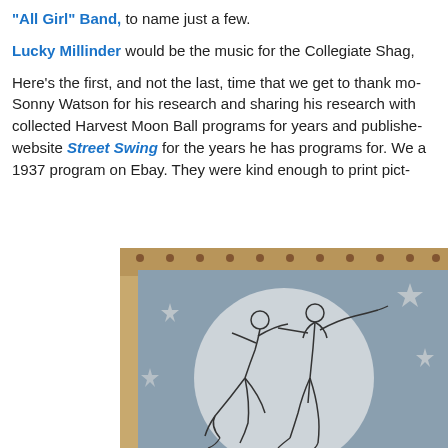"All Girl" Band, to name just a few.

Lucky Millinder would be the music for the Collegiate Shag,

Here's the first, and not the last, time that we get to thank mo- Sonny Watson for his research and sharing his research with collected Harvest Moon Ball programs for years and publishe- website Street Swing for the years he has programs for. We a 1937 program on Ebay. They were kind enough to print pict-
[Figure (photo): A photograph of a vintage Harvest Moon Ball program cover showing a line drawing illustration of a couple dancing, with a full moon and stars in the background. The image appears to be from 1937.]